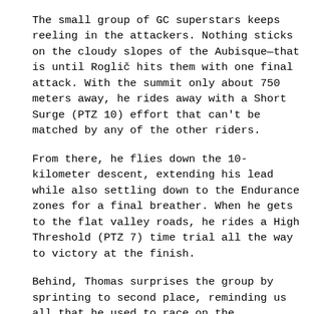The small group of GC superstars keeps reeling in the attackers. Nothing sticks on the cloudy slopes of the Aubisque—that is until Roglič hits them with one final attack. With the summit only about 750 meters away, he rides away with a Short Surge (PTZ 10) effort that can't be matched by any of the other riders.
From there, he flies down the 10-kilometer descent, extending his lead while also settling down to the Endurance zones for a final breather. When he gets to the flat valley roads, he rides a High Threshold (PTZ 7) time trial all the way to victory at the finish.
Behind, Thomas surprises the group by sprinting to second place, reminding us all that he used to race on the velodrome, with a Maximum Explosive Strength (PTZ 11) burst of speed.
The race is still not over for the majority of the peloton,